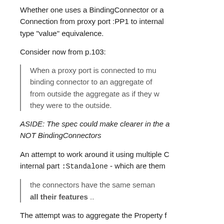Whether one uses a BindingConnector or a Connection from proxy port :PP1 to internal type "value" equivalence.
Consider now from p.103:
When a proxy port is connected to multiple binding connector to an aggregate of from outside the aggregate as if they they were to the outside.
ASIDE: The spec could make clearer in the a NOT BindingConnectors
An attempt to work around it using multiple C internal part :Standalone - which are them
the connectors have the same seman all their features ..
The attempt was to aggregate the Property f
And even if the above were to work, it does